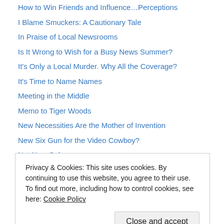How to Win Friends and Influence…Perceptions
I Blame Smuckers: A Cautionary Tale
In Praise of Local Newsrooms
Is It Wrong to Wish for a Busy News Summer?
It's Only a Local Murder. Why All the Coverage?
It's Time to Name Names
Meeting in the Middle
Memo to Tiger Woods
New Necessities Are the Mother of Invention
New Six Gun for the Video Cowboy?
Not New Coke
OK, I Need Some Help on This One
Reading the Mindset of Your Future Employees
Privacy & Cookies: This site uses cookies. By continuing to use this website, you agree to their use. To find out more, including how to control cookies, see here: Cookie Policy
The Great Fight North